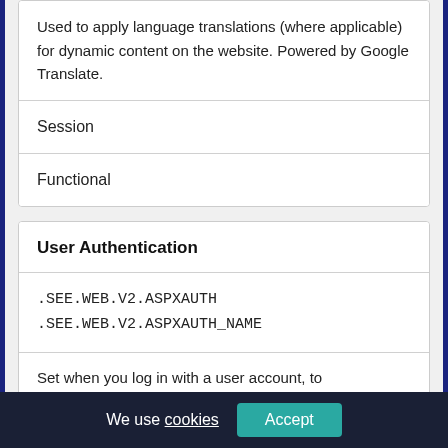Used to apply language translations (where applicable) for dynamic content on the website. Powered by Google Translate.
Session
Functional
User Authentication
.SEE.WEB.V2.ASPXAUTH
.SEE.WEB.V2.ASPXAUTH_NAME
Set when you log in with a user account, to
We use cookies Accept